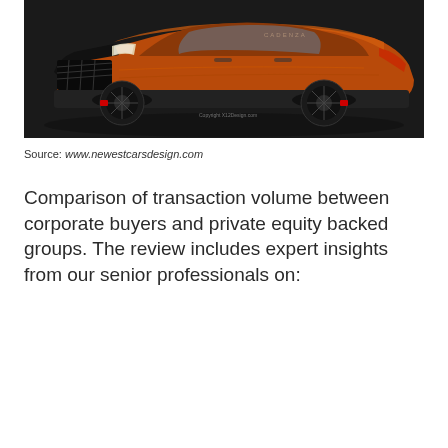[Figure (photo): Photograph of a sleek orange/copper sports car (sedan) with black alloy wheels, photographed from a front three-quarter angle against a dark studio background. A small watermark reads 'Copyright X12Design.com'.]
Source: www.newestcarsdesign.com
Comparison of transaction volume between corporate buyers and private equity backed groups. The review includes expert insights from our senior professionals on: